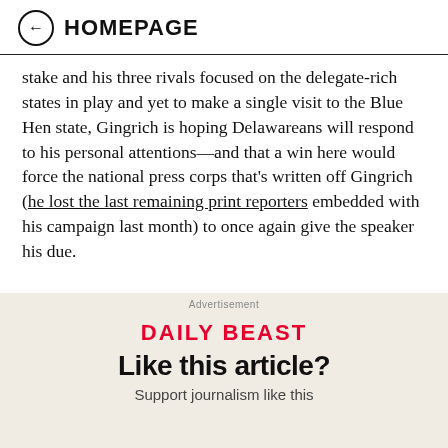HOMEPAGE
stake and his three rivals focused on the delegate-rich states in play and yet to make a single visit to the Blue Hen state, Gingrich is hoping Delawareans will respond to his personal attentions—and that a win here would force the national press corps that's written off Gingrich (he lost the last remaining print reporters embedded with his campaign last month) to once again give the speaker his due.
Advertisement
DAILY BEAST
Like this article?
Support journalism like this